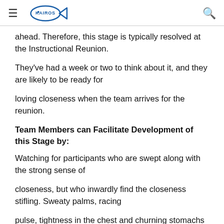KAIROS [logo] menu and search
ahead. Therefore, this stage is typically resolved at the Instructional Reunion.
They've had a week or two to think about it, and they are likely to be ready for
loving closeness when the team arrives for the reunion.
Team Members can Facilitate Development of this Stage by:
Watching for participants who are swept along with the strong sense of
closeness, but who inwardly find the closeness stifling. Sweaty palms, racing
pulse, tightness in the chest and churning stomachs often result!